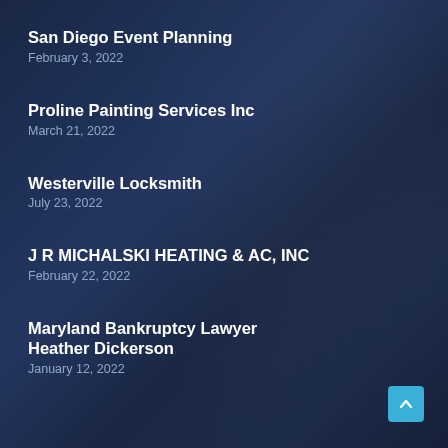San Diego Event Planning
February 3, 2022
Proline Painting Services Inc
March 21, 2022
Westerville Locksmith
July 23, 2022
J R MICHALSKI HEATING & AC, INC
February 22, 2022
Maryland Bankruptcy Lawyer Heather Dickerson
January 12, 2022